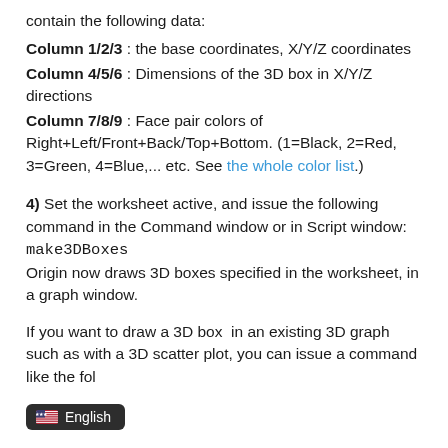contain the following data:
Column 1/2/3 : the base coordinates, X/Y/Z coordinates
Column 4/5/6 : Dimensions of the 3D box in X/Y/Z directions
Column 7/8/9 : Face pair colors of Right+Left/Front+Back/Top+Bottom. (1=Black, 2=Red, 3=Green, 4=Blue,... etc. See the whole color list.)
4) Set the worksheet active, and issue the following command in the Command window or in Script window: make3DBoxes Origin now draws 3D boxes specified in the worksheet, in a graph window.
If you want to draw a 3D box  in an existing 3D graph such as with a 3D scatter plot, you can issue a command like the fol
[Figure (other): Language selector badge showing US flag and 'English' text on dark rounded rectangle background]